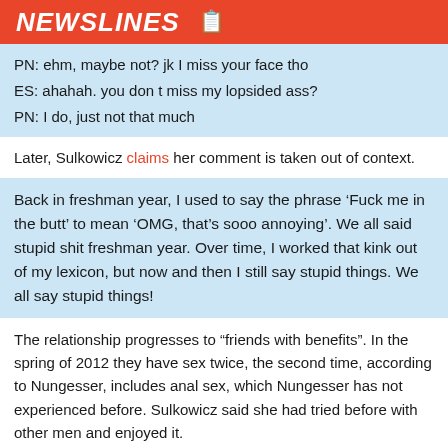NEWSLINES
PN: ehm, maybe not? jk I miss your face tho
ES: ahahah. you don t miss my lopsided ass?
PN: I do, just not that much
Later, Sulkowicz claims her comment is taken out of context.
Back in freshman year, I used to say the phrase ‘Fuck me in the butt’ to mean ‘OMG, that’s sooo annoying’. We all said stupid shit freshman year. Over time, I worked that kink out of my lexicon, but now and then I still say stupid things. We all say stupid things!
The relationship progresses to “friends with benefits”. In the spring of 2012 they have sex twice, the second time, according to Nungesser, includes anal sex, which Nungesser has not experienced before. Sulkowicz said she had tried before with other men and enjoyed it.
One of the main reasons their relationship does not become deeper was that Sulkowicz had previously been having sex with